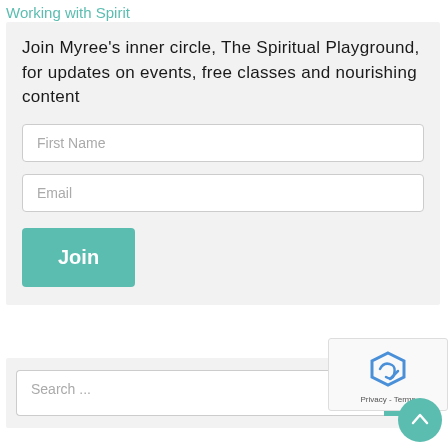Working with Spirit
Join Myree's inner circle, The Spiritual Playground, for updates on events, free classes and nourishing content
First Name
Email
Join
Search ...
[Figure (other): reCAPTCHA badge with logo and Privacy - Terms text]
[Figure (other): Back to top button, circular teal arrow up icon]